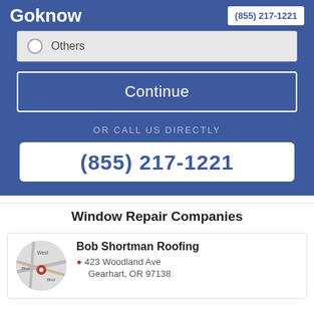Goknow | (855) 217-1221
Others
Continue
OR CALL US DIRECTLY
(855) 217-1221
Window Repair Companies
Bob Shortman Roofing
423 Woodland Ave
Gearhart, OR 97138